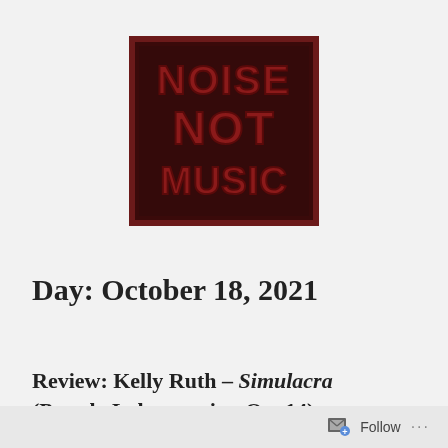[Figure (logo): Square logo with dark red/maroon background and bold red distressed text reading NOISE NOT MUSIC, with a dark border frame]
Day: October 18, 2021
Review: Kelly Ruth – Simulacra (Pseudo Laboratories, Oct 14)